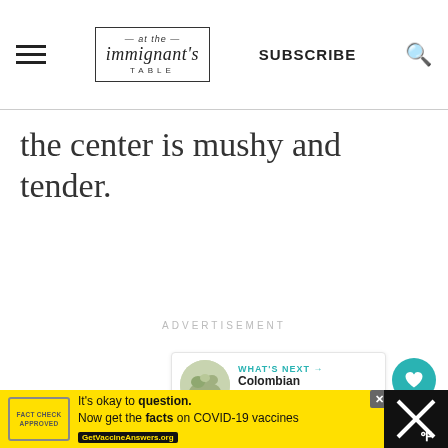At The Immignant's Table — SUBSCRIBE
the center is mushy and tender.
ADVERTISEMENT
[Figure (other): Heart/like button (teal circle with heart icon) showing count 480, and a share button below it]
[Figure (other): What's Next card showing a thumbnail of a dish with text: WHAT'S NEXT → Colombian ceviche with...]
[Figure (other): Yellow advertisement banner at bottom: It's okay to question. Now get the facts on COVID-19 vaccines. GetVaccineAnswers.org]